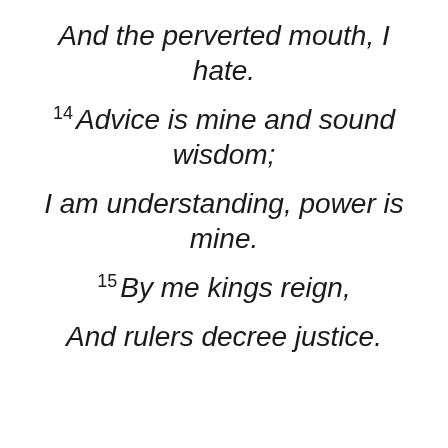And the perverted mouth, I hate.
14 Advice is mine and sound wisdom;
I am understanding, power is mine.
15 By me kings reign,
And rulers decree justice.